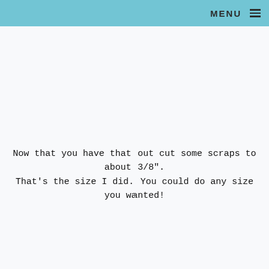MENU
Now that you have that out cut some scraps to about 3/8".
That's the size I did. You could do any size you wanted!